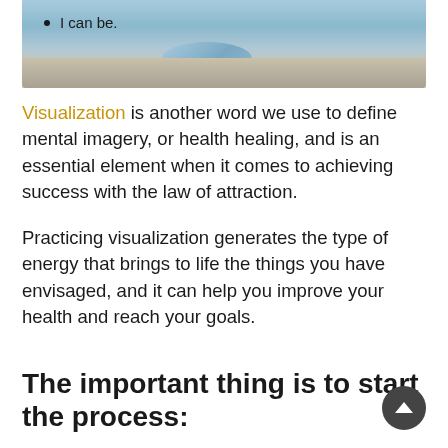[Figure (photo): A blue/teal smooth stone or piece of ice resting on rocky/sandy terrain with a blue sky background. A bullet point with text 'I can be.' overlaid at the top left of the image.]
I can be.
Visualization is another word we use to define mental imagery, or health healing, and is an essential element when it comes to achieving success with the law of attraction.
Practicing visualization generates the type of energy that brings to life the things you have envisaged, and it can help you improve your health and reach your goals.
The important thing is to start the process: